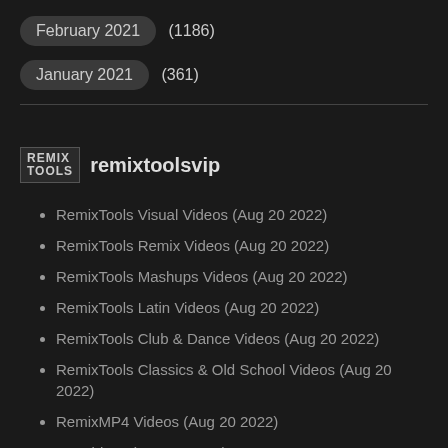February 2021 (1186)
January 2021 (361)
remixtoolsvip
RemixTools Visual Videos (Aug 20 2022)
RemixTools Remix Videos (Aug 20 2022)
RemixTools Mashups Videos (Aug 20 2022)
RemixTools Latin Videos (Aug 20 2022)
RemixTools Club & Dance Videos (Aug 20 2022)
RemixTools Classics & Old School Videos (Aug 20 2022)
RemixMP4 Videos (Aug 20 2022)
HH Videos (Aug 20 2022)
DJ Luis Bravo (Aug 20 2022)